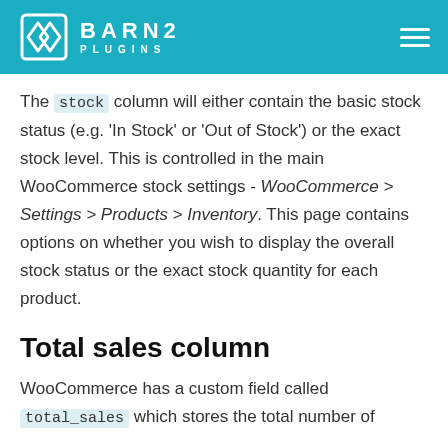BARN2 PLUGINS
The stock column will either contain the basic stock status (e.g. 'In Stock' or 'Out of Stock') or the exact stock level. This is controlled in the main WooCommerce stock settings - WooCommerce > Settings > Products > Inventory. This page contains options on whether you wish to display the overall stock status or the exact stock quantity for each product.
Total sales column
WooCommerce has a custom field called total_sales which stores the total number of